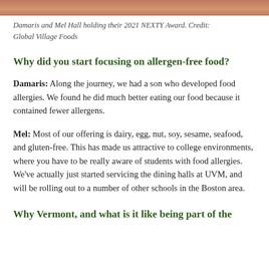[Figure (photo): Top strip of a photo showing Damaris and Mel Hall holding their 2021 NEXTY Award]
Damaris and Mel Hall holding their 2021 NEXTY Award. Credit: Global Village Foods
Why did you start focusing on allergen-free food?
Damaris: Along the journey, we had a son who developed food allergies. We found he did much better eating our food because it contained fewer allergens.
Mel: Most of our offering is dairy, egg, nut, soy, sesame, seafood, and gluten-free. This has made us attractive to college environments, where you have to be really aware of students with food allergies. We've actually just started servicing the dining halls at UVM, and will be rolling out to a number of other schools in the Boston area.
Why Vermont, and what is it like being part of the